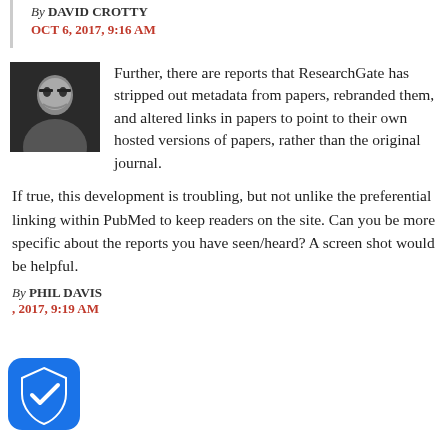By DAVID CROTTY
OCT 6, 2017, 9:16 AM
Further, there are reports that ResearchGate has stripped out metadata from papers, rebranded them, and altered links in papers to point to their own hosted versions of papers, rather than the original journal.
If true, this development is troubling, but not unlike the preferential linking within PubMed to keep readers on the site. Can you be more specific about the reports you have seen/heard? A screen shot would be helpful.
By PHIL DAVIS
, 2017, 9:19 AM